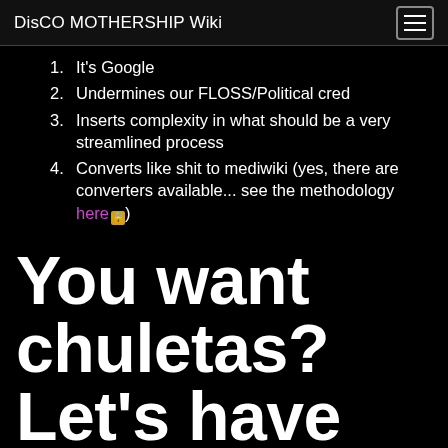DisCO MOTHERSHIP Wiki
It's Google
Undermines our FLOSS/Political cred
Inserts complexity in what should be a very streamlined process
Converts like shit to mediwiki (yes, there are converters available... see the methodology here 🔒
You want chuletas? Let's have 'em!